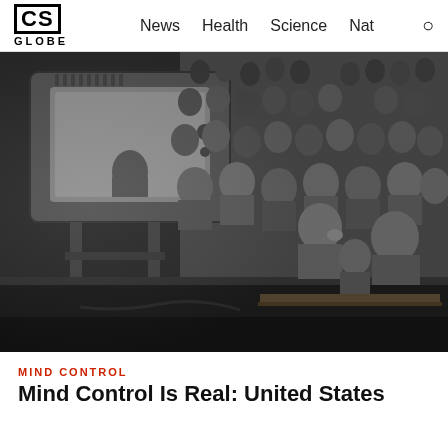CS GLOBE  News  Health  Science  Nat
[Figure (photo): Black and white photograph of a large crowd of people watching a television set on a stage. The TV is shown from behind, and the crowd appears captivated, looking toward the screen. The setting looks like a public event hall, mid-20th century.]
MIND CONTROL
Mind Control Is Real: United States